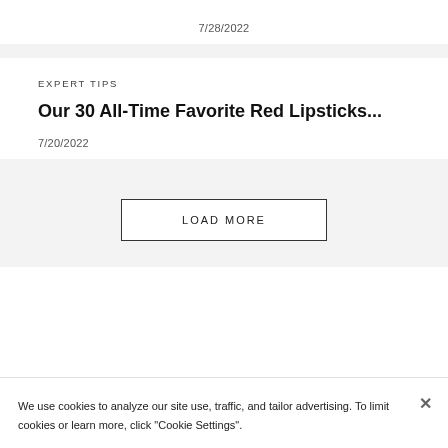7/28/2022
EXPERT TIPS
Our 30 All-Time Favorite Red Lipsticks...
7/20/2022
LOAD MORE
We use cookies to analyze our site use, traffic, and tailor advertising. To limit cookies or learn more, click "Cookie Settings".